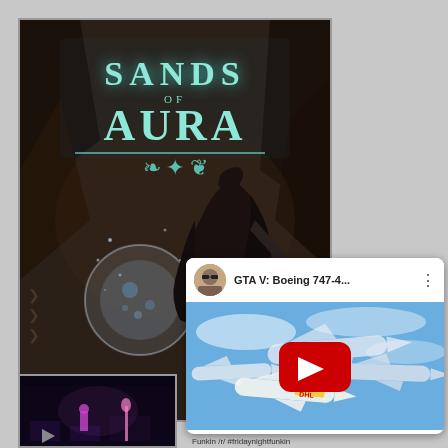[Figure (screenshot): Sands of Aura game promotional image showing a dark fantasy scene with a robed figure wielding a sword and a glowing orb, with the game logo 'SANDS OF AURA' displayed in teal/cyan decorative lettering at the top]
[Figure (screenshot): YouTube video card showing 'GTA V: Boeing 747-4...' with a thumbnail of multiple large Boeing 747-style aircraft flying in blue sky, including DHL branded aircraft. Has a YouTube play button overlay. Channel avatar shows a man with sunglasses.]
[Figure (screenshot): Small dark thumbnail at bottom left showing what appears to be a dark game scene with pink/purple elements]
Funkin /r/ #fridaynightfunkin